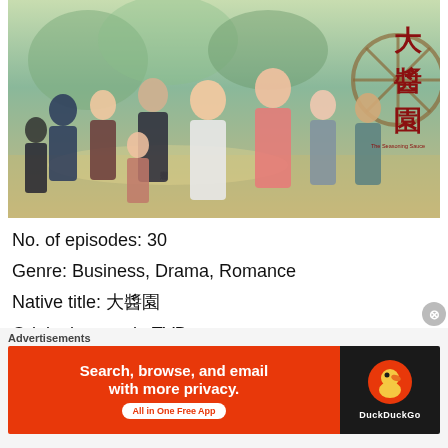[Figure (photo): Promotional poster of a Chinese TV drama showing multiple cast members posed together in period costume against a green outdoor background with a water wheel. Large red Chinese characters on the right side read 大醬園 (The Seasoning Sauce). Subtitle text below reads 'The Seasoning Sauce'.]
No. of episodes: 30
Genre: Business, Drama, Romance
Native title: 大醬園
Original network: TVB
[Figure (screenshot): DuckDuckGo advertisement banner. Left orange section reads 'Search, browse, and email with more privacy. All in One Free App'. Right black section shows DuckDuckGo duck logo and brand name.]